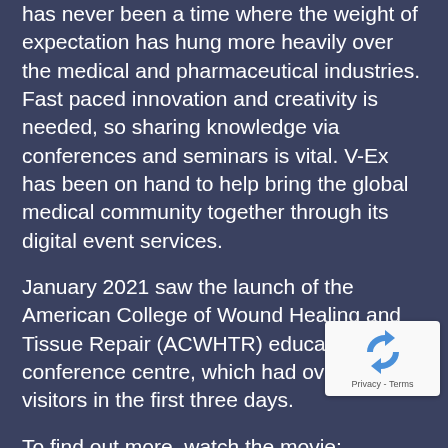has never been a time where the weight of expectation has hung more heavily over the medical and pharmaceutical industries. Fast paced innovation and creativity is needed, so sharing knowledge via conferences and seminars is vital. V-Ex has been on hand to help bring the global medical community together through its digital event services.
January 2021 saw the launch of the American College of Wound Healing and Tissue Repair (ACWHTR) education conference centre, which had over 1200 visitors in the first three days.
To find out more, watch the movie: https://youtu.be/YbdXEWnxB_g
ACWHTR approached us in
[Figure (other): reCAPTCHA privacy badge showing the Google reCAPTCHA logo and Privacy - Terms text]